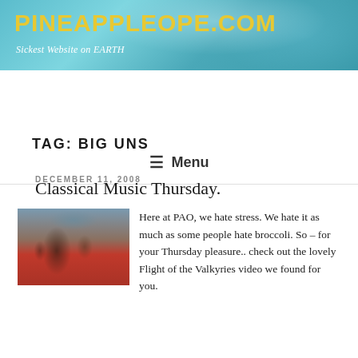PINEAPPLEOPE.COM
Sickest Website on EARTH
≡ Menu
TAG: BIG UNS
DECEMBER 11, 2008
Classical Music Thursday.
[Figure (photo): Group photo of a man in a suit surrounded by women in red outfits]
Here at PAO, we hate stress. We hate it as much as some people hate broccoli. So – for your Thursday pleasure.. check out the lovely Flight of the Valkyries video we found for you.